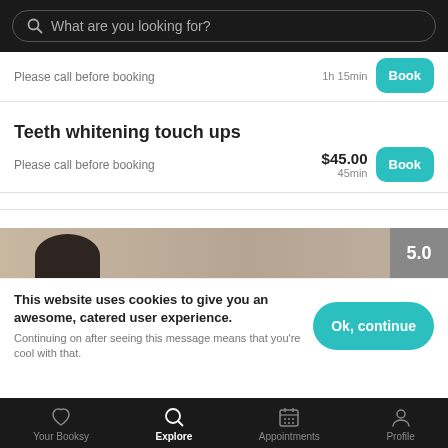What are you looking for?
Please call before booking
1h 15min
Teeth whitening touch ups
Please call before booking
$45.00
45min
[Figure (photo): Partial photo of a person with dark hair, with a rating badge showing 5.0]
This website uses cookies to give you an awesome, catered user experience. Continuing on after seeing this message means that you're cool with that.
Your Booksy | Explore | Appointments | Profile